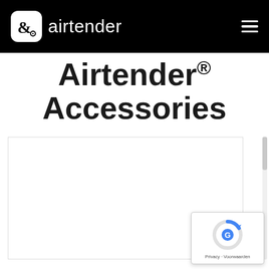airtender
Airtender® Accessories
[Figure (other): White content area / product listing container (empty/loading)]
[Figure (other): reCAPTCHA badge with spinner icon and Privacy · Voorwaarden text]